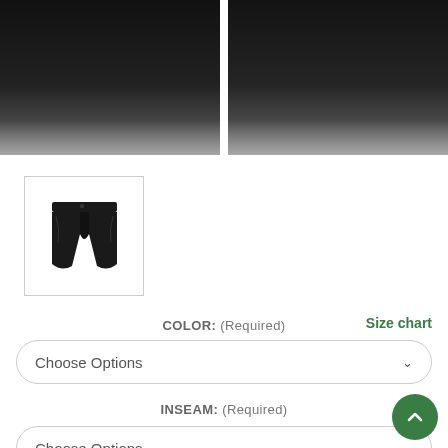[Figure (photo): Two product photos of black shorts, cropped at top, side by side]
[Figure (photo): Thumbnail of black shorts with border]
COLOR:  (Required)
Size chart
Choose Options
INSEAM:  (Required)
Choose Options